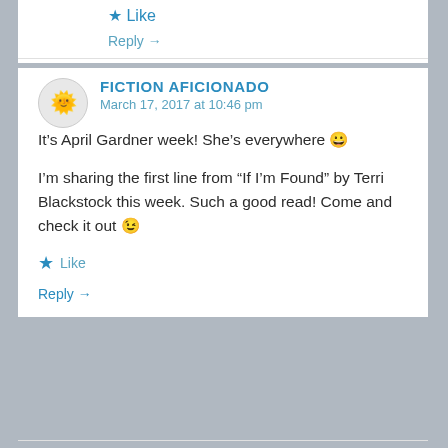★ Like
Reply →
FICTION AFICIONADO
March 17, 2017 at 10:46 pm
It's April Gardner week! She's everywhere 😀
I'm sharing the first line from "If I'm Found" by Terri Blackstock this week. Such a good read! Come and check it out 😉
★ Like
Reply →